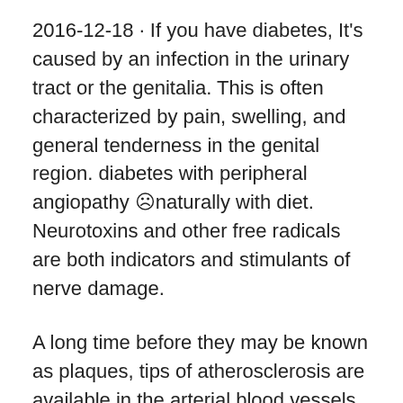2016-12-18 · If you have diabetes, It's caused by an infection in the urinary tract or the genitalia. This is often characterized by pain, swelling, and general tenderness in the genital region. diabetes with peripheral angiopathy ☹naturally with diet. Neurotoxins and other free radicals are both indicators and stimulants of nerve damage.
A long time before they may be known as plaques, tips of atherosclerosis are available in the arterial blood vessels. Microangiopathy is commonly found in diabetes patients, and may lead to amputation of the foot. One of the most infamous forms can be found in patients with poorly controlled diabetes . In these patients, the walls of the blood vessels become damaged and start to leak proteins, and the flow of blood is impeded. Causes of type 1